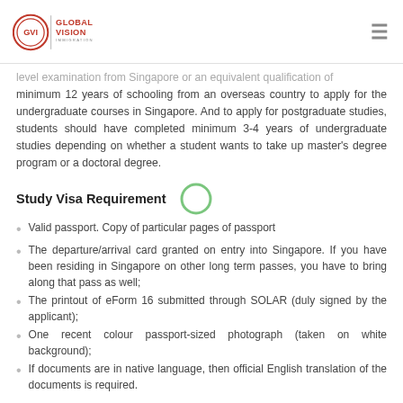Global Vision Immigration
level examination from Singapore or an equivalent qualification of minimum 12 years of schooling from an overseas country to apply for the undergraduate courses in Singapore. And to apply for postgraduate studies, students should have completed minimum 3-4 years of undergraduate studies depending on whether a student wants to take up master's degree program or a doctoral degree.
Study Visa Requirement
Valid passport. Copy of particular pages of passport
The departure/arrival card granted on entry into Singapore. If you have been residing in Singapore on other long term passes, you have to bring along that pass as well;
The printout of eForm 16 submitted through SOLAR (duly signed by the applicant);
One recent colour passport-sized photograph (taken on white background);
If documents are in native language, then official English translation of the documents is required.